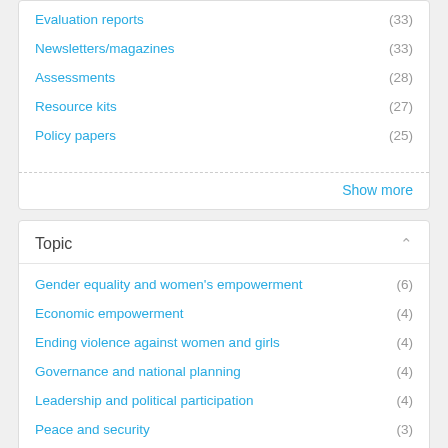Evaluation reports (33)
Newsletters/magazines (33)
Assessments (28)
Resource kits (27)
Policy papers (25)
Show more
Topic
Gender equality and women's empowerment (6)
Economic empowerment (4)
Ending violence against women and girls (4)
Governance and national planning (4)
Leadership and political participation (4)
Peace and security (3)
Human rights (2)
Civil society (1)
Fund for Gender Equality (1)